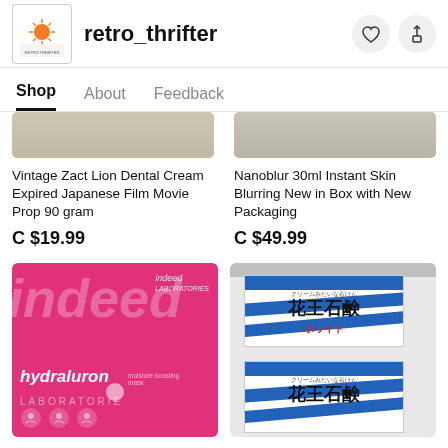retro_thrifter
Shop  About  Feedback
Vintage Zact Lion Dental Cream Expired Japanese Film Movie Prop 90 gram
C $19.99
Nanoblur 30ml Instant Skin Blurring New in Box with New Packaging
C $49.99
[Figure (photo): Pink 'indeed laboratories hydraluron moisture boosting mask' product box]
[Figure (photo): Japanese Kao soap bars (花王石鹸 ホワイト) in white and blue boxes stacked]